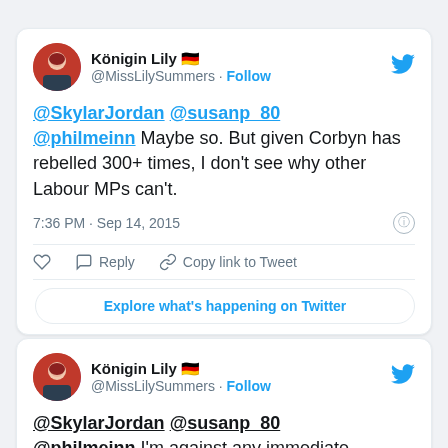[Figure (screenshot): Tweet from Königin Lily @MissLilySummers with German flag emoji, mentioning @SkylarJordan @susanp_80 @philmeinn: 'Maybe so. But given Corbyn has rebelled 300+ times, I don't see why other Labour MPs can't.' Posted 7:36 PM · Sep 14, 2015. With like, reply, copy link actions and Explore button.]
[Figure (screenshot): Second tweet from Königin Lily @MissLilySummers with German flag emoji, beginning with '@SkylarJordan @susanp_80 @philmeinn I'm against any immediate...' (cut off at bottom of page).]